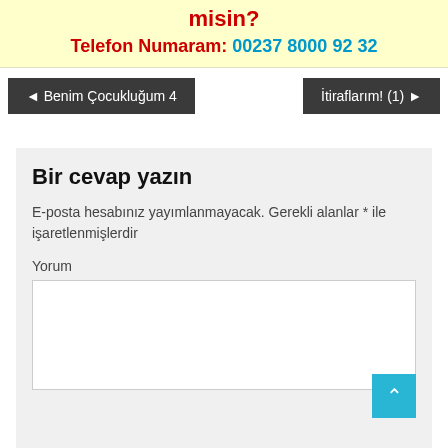misin?
Telefon Numaram: 00237 8000 92 32
◄ Benim Çocukluğum 4
İtiraflarım! (1) ►
Bir cevap yazın
E-posta hesabınız yayımlanmayacak. Gerekli alanlar * ile işaretlenmişlerdir
Yorum